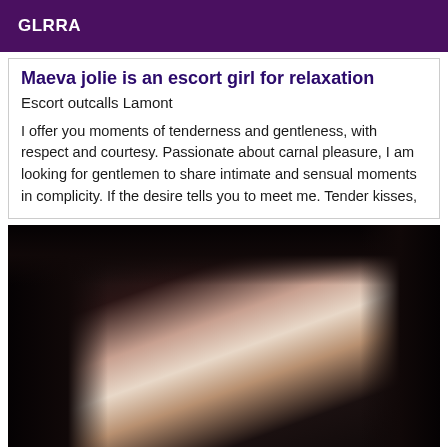GLRRA
Maeva jolie is an escort girl for relaxation
Escort outcalls Lamont
I offer you moments of tenderness and gentleness, with respect and courtesy. Passionate about carnal pleasure, I am looking for gentlemen to share intimate and sensual moments in complicity. If the desire tells you to meet me. Tender kisses,
[Figure (photo): Close-up photo of a person in dim lighting with bright light source visible]